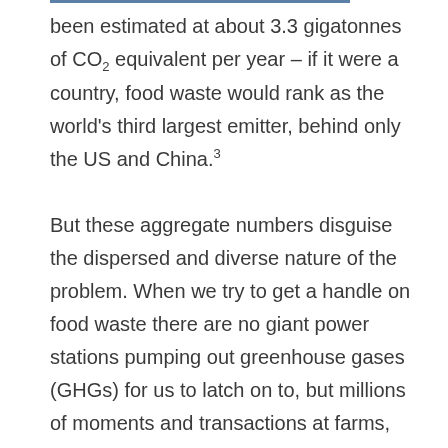been estimated at about 3.3 gigatonnes of CO₂ equivalent per year – if it were a country, food waste would rank as the world's third largest emitter, behind only the US and China.³

But these aggregate numbers disguise the dispersed and diverse nature of the problem. When we try to get a handle on food waste there are no giant power stations pumping out greenhouse gases (GHGs) for us to latch on to, but millions of moments and transactions at farms, supermarkets, homes and restaurants. And while renewable energy sources may be steadily chipping away at our oil and gas dependency, there is no currently